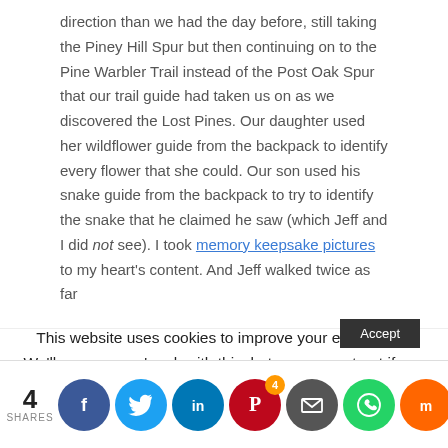direction than we had the day before, still taking the Piney Hill Spur but then continuing on to the Pine Warbler Trail instead of the Post Oak Spur that our trail guide had taken us on as we discovered the Lost Pines. Our daughter used her wildflower guide from the backpack to identify every flower that she could. Our son used his snake guide from the backpack to try to identify the snake that he claimed he saw (which Jeff and I did not see). I took memory keepsake pictures to my heart's content. And Jeff walked twice as far
This website uses cookies to improve your experience. We'll assume you're ok with this, but you can opt-out if you wish.
4 SHARES | Facebook | Twitter | LinkedIn | Pinterest (4) | Email | WhatsApp | Mix | Tumblr | Reddit